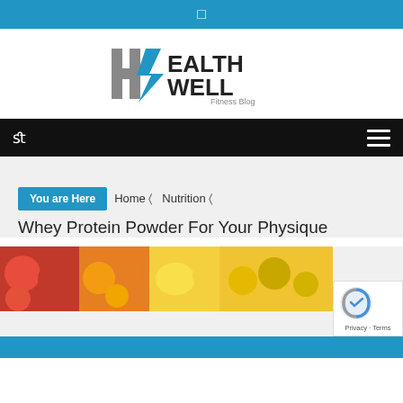[Figure (logo): Health Well Fitness Blog logo with stylized H and lightning bolt]
fl  ≡
You are Here  Home ❯  Nutrition ❯
Whey Protein Powder For Your Physique
[Figure (photo): Colorful fruits including tomatoes, oranges, lemons, and yellow/green produce]